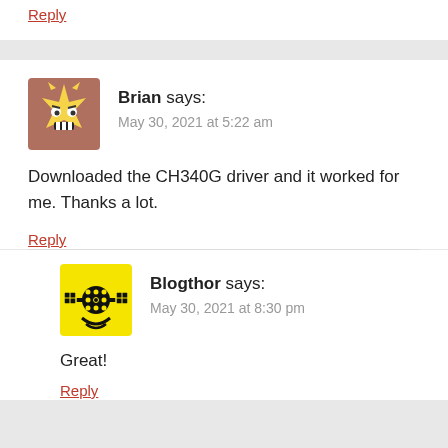Reply
[Figure (illustration): User avatar: cartoon star character with eyes and teeth on pinkish-brown background]
Brian says:
May 30, 2021 at 5:22 am
Downloaded the CH340G driver and it worked for me. Thanks a lot.
Reply
[Figure (illustration): User avatar: yellow background with black satellite/space icon]
Blogthor says:
May 30, 2021 at 8:30 pm
Great!
Reply